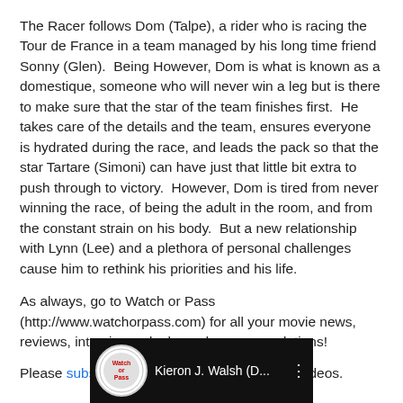The Racer follows Dom (Talpe), a rider who is racing the Tour de France in a team managed by his long time friend Sonny (Glen).  Being However, Dom is what is known as a domestique, someone who will never win a leg but is there to make sure that the star of the team finishes first.  He takes care of the details and the team, ensures everyone is hydrated during the race, and leads the pack so that the star Tartare (Simoni) can have just that little bit extra to push through to victory.  However, Dom is tired from never winning the race, of being the adult in the room, and from the constant strain on his body.  But a new relationship with Lynn (Lee) and a plethora of personal challenges cause him to rethink his priorities and his life.
As always, go to Watch or Pass (http://www.watchorpass.com) for all your movie news, reviews, interviews, deals, and recommendations!
Please subscribe to be updated on the latest videos.
[Figure (screenshot): Video thumbnail showing Watch or Pass logo badge on left and text 'Kieron J. Walsh (D...' on dark background with vertical dots menu icon]